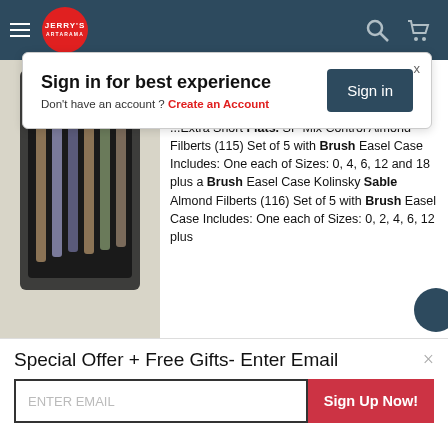Jerry's Artarama - navigation bar
Sign in for best experience
Don't have an account ? Create an Account
Save Up to 59% Off list
Starting At: $116.59
...Extra Short Flats. SP Mix Control Almond Filberts (115) Set of 5 with Brush Easel Case Includes: One each of Sizes: 0, 4, 6, 12 and 18 plus a Brush Easel Case Kolinsky Sable Almond Filberts (116) Set of 5 with Brush Easel Case Includes: One each of Sizes: 0, 2, 4, 6, 12 plus
Special Offer + Free Gifts- Enter Email
ENTER EMAIL
Sign Up Now!